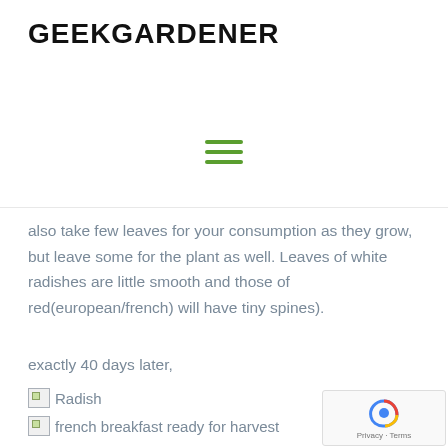GEEKGARDENER
[Figure (other): Green hamburger menu icon with three horizontal green bars]
also take few leaves for your consumption as they grow, but leave some for the plant as well. Leaves of white radishes are little smooth and those of red(european/french) will have tiny spines).
exactly 40 days later,
[Figure (photo): Broken image placeholder with alt text: Radish]
[Figure (photo): Broken image placeholder with alt text: french breakfast ready for harvest]